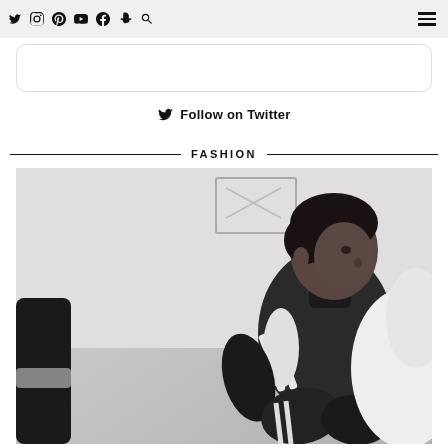Navigation bar with social icons: Twitter, Instagram, Pinterest, YouTube, Facebook, Snapchat, Search, and hamburger menu
[Figure (other): White rounded rectangle box (partial content area)]
Follow on Twitter
FASHION
[Figure (photo): Black and white photograph of a young man seated, wearing an Adidas tracksuit jacket and joggers with three white stripes, looking to the side in a light-colored room]